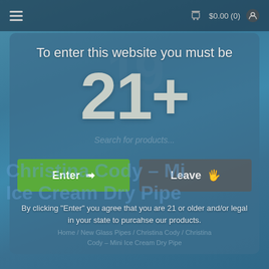[Figure (screenshot): Website age verification modal overlay on a blue smoky background. Shows 'To enter this website you must be' text, large '21+' number, green 'Enter' button and grey 'Leave' button, with disclaimer text below.]
To enter this website you must be
21+
Enter →
Leave 🖐
By clicking "Enter" you agree that you are 21 or older and/or legal in your state to purcahse our products.
Christina Cody – Mini Ice Cream Dry Pipe